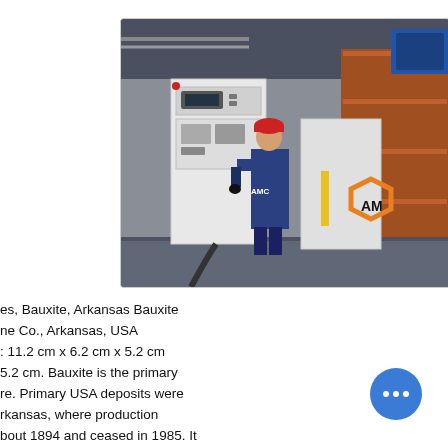[Figure (photo): Industrial facility interior showing a worker in a red hard hat and blue AMC uniform standing next to a large white control cabinet/electrical panel. On the right side is a white machine with an orange AMC hexagon logo. Industrial equipment and racking visible in background.]
es, Bauxite, Arkansas Bauxite ne Co., Arkansas, USA : 11.2 cm x 6.2 cm x 5.2 cm 5.2 cm. Bauxite is the primary re. Primary USA deposits were rkansas, where production bout 1894 and ceased in 1985. It and rock, comprised of iron and